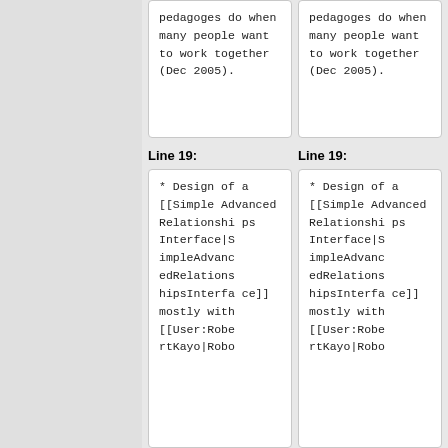pedagoges do when many people want to work together (Dec 2005).
pedagoges do when many people want to work together (Dec 2005).
Line 19:
Line 19:
* Design of a [[Simple Advanced Relationships Interface|SimpleAdvancedRelationshipsInterface]] mostly with [[User:RobertKayo|Robo
* Design of a [[Simple Advanced Relationships Interface|SimpleAdvancedRelationshipsInterface]] mostly with [[User:RobertKayo|Robo